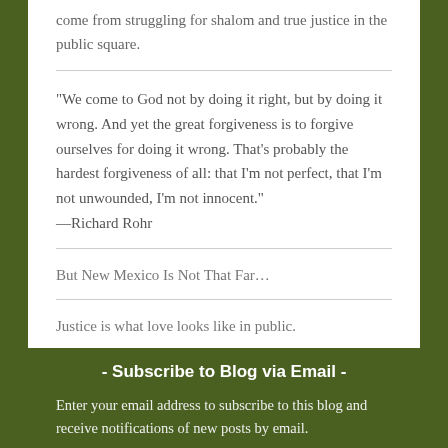come from struggling for shalom and true justice in the public square.
“We come to God not by doing it right, but by doing it wrong. And yet the great forgiveness is to forgive ourselves for doing it wrong. That’s probably the hardest forgiveness of all: that I’m not perfect, that I’m not unwounded, I’m not innocent.” —Richard Rohr
But New Mexico Is Not That Far…
Justice is what love looks like in public.
- Subscribe to Blog via Email -
Enter your email address to subscribe to this blog and receive notifications of new posts by email.